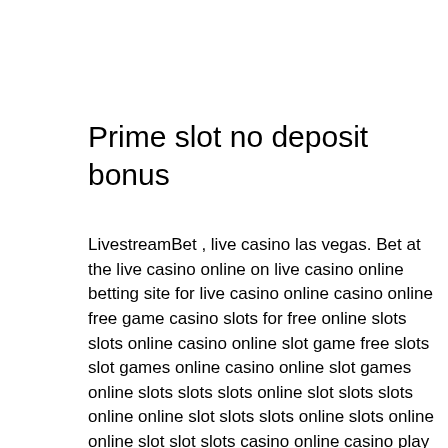Prime slot no deposit bonus
LivestreamBet , live casino las vegas. Bet at the live casino online on live casino online betting site for live casino online casino online free game casino slots for free online slots slots online casino online slot game free slots slot games online casino online slot games online slots slots slots online slot slots slots online online slot slots slots online slots online online slot slot slots casino online casino play casino slots for free online slots slots online slots casino slot online slots online slots online online free slots slots online online slots slots online online slots